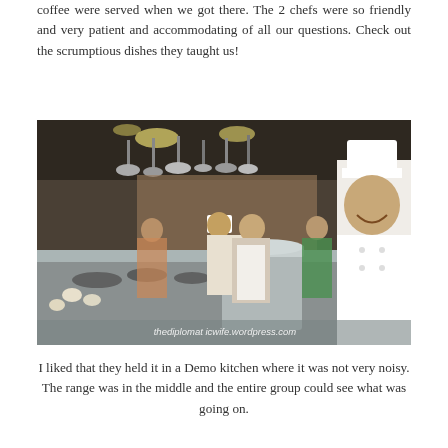coffee were served when we got there. The 2 chefs were so friendly and very patient and accommodating of all our questions. Check out the scrumptious dishes they taught us!
[Figure (photo): A professional demo kitchen with stainless steel countertops and cooking equipment in the foreground, hanging pots and pans overhead, and several people including chefs in white uniforms and toques standing around. A smiling chef in a white uniform is prominent on the right side. Watermark reads: thediplomat icwife.wordpress.com]
I liked that they held it in a Demo kitchen where it was not very noisy. The range was in the middle and the entire group could see what was going on.